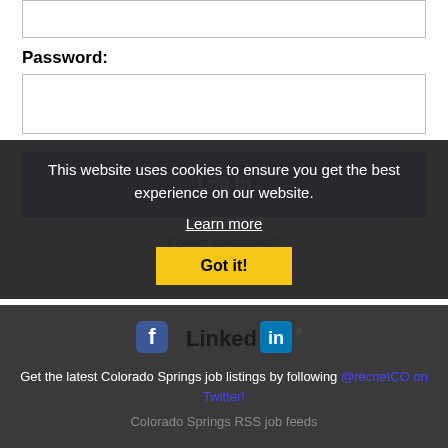[Figure (screenshot): Input text box (top of page, partially visible)]
Password:
[Figure (screenshot): Password input text box]
Log In
Forgot password?
[Figure (logo): Facebook and LinkedIn social media icons/logos]
This website uses cookies to ensure you get the best experience on our website.
Get the latest Colorado Springs job listings by following @recnetCO on Twitter!
Learn more
Got it!
Colorado Springs RSS job feeds